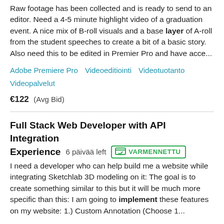Raw footage has been collected and is ready to send to an editor. Need a 4-5 minute highlight video of a graduation event. A nice mix of B-roll visuals and a base layer of A-roll from the student speeches to create a bit of a basic story. Also need this to be edited in Premier Pro and have acce...
Adobe Premiere Pro   Videoeditiointi   Videotuotanto   Videopalvelut
€122  (Avg Bid)
Full Stack Web Developer with API Integration Experience
6 päivää left   VARMENNETTU
I need a developer who can help build me a website while integrating Sketchlab 3D modeling on it: The goal is to create something similar to this but it will be much more specific than this: I am going to implement these features on my website: 1.) Custom Annotation (Choose 1...
HTML   JavaScript   PHP   Verkkosivujen suunnittelu   WordPress